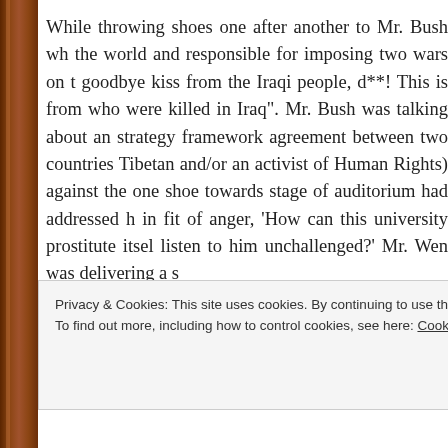While throwing shoes one after another to Mr. Bush wh the world and responsible for imposing two wars on t goodbye kiss from the Iraqi people, d**! This is from who were killed in Iraq". Mr. Bush was talking about an strategy framework agreement between two countries Tibetan and/or an activist of Human Rights) against the one shoe towards stage of auditorium had addressed h in fit of anger, 'How can this university prostitute itsel listen to him unchallenged?' Mr. Wen was delivering a s
It cannot be negated that there were some political m countries. Mr. Bush had many times accepted his blun 'Code Pink' which is mainly lead by women had arrang
Privacy & Cookies: This site uses cookies. By continuing to use this website, you agree to their use.
To find out more, including how to control cookies, see here: Cookie Policy
Close and accept